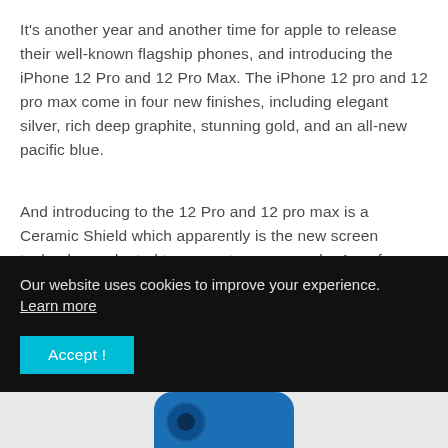It's another year and another time for apple to release their well-known flagship phones, and introducing the iPhone 12 Pro and 12 Pro Max. The iPhone 12 pro and 12 pro max come in four new finishes, including elegant silver, rich deep graphite, stunning gold, and an all-new pacific blue.
And introducing to the 12 Pro and 12 pro max is a Ceramic Shield which apparently is the new screen technology adopted to prevent screen cracks 4x safer from a drop. The new 12 models have improved water and dust resistant
Our website uses cookies to improve your experience.
Learn more
[Figure (photo): Bottom strip showing the top portion of a blue iPhone 12 with camera visible]